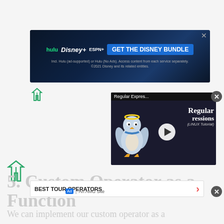[Figure (screenshot): Disney+ bundle advertisement banner with Hulu, Disney+, and ESPN+ logos and 'GET THE DISNEY BUNDLE' call to action]
[Figure (screenshot): Video player overlay showing 'Regular Expres...' title with Linux penguin mascot and play button, labeled 'Regular Expressions (LINUX Tutorial)']
5. Custom Operator as a Function
[Figure (screenshot): Advertisement bar: BEST TOUR OPERATORS with Ad badge and An AMG Site label]
We can implement our custom operator as a